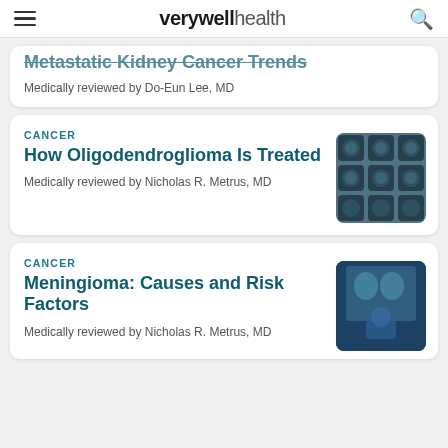verywell health
Medically reviewed by Do-Eun Lee, MD
CANCER
How Oligodendroglioma Is Treated
Medically reviewed by Nicholas R. Metrus, MD
[Figure (photo): Brain MRI scan images arranged in a grid]
CANCER
Meningioma: Causes and Risk Factors
Medically reviewed by Nicholas R. Metrus, MD
[Figure (photo): Medical professional reviewing MRI brain scans on a screen]